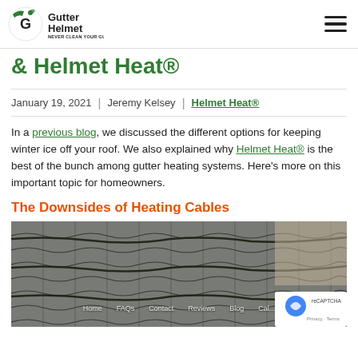Gutter Helmet — NEVER CLEAN YOUR GUTTERS AGAIN®
& Helmet Heat®
January 19, 2021 | Jeremy Kelsey | Helmet Heat®
In a previous blog, we discussed the different options for keeping winter ice off your roof. We also explained why Helmet Heat® is the best of the bunch among gutter heating systems. Here's more on this important topic for homeowners.
The Downsides of Heating Cables
[Figure (photo): Close-up photo of roof shingles with heating cables installed, showing dark cables running along the shingle surface]